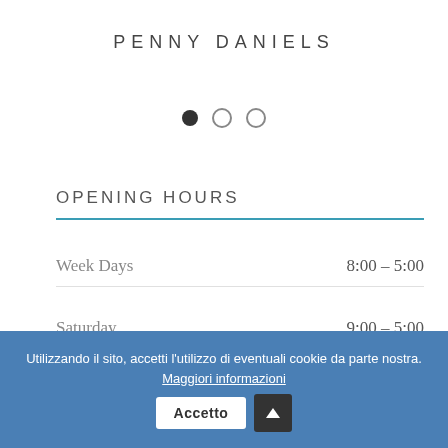PENNY DANIELS
[Figure (other): Carousel navigation dots: one filled black dot followed by two empty circle dots]
OPENING HOURS
Week Days    8:00 – 5:00
Saturday    9:00 – 5:00
Sunday
Utilizzando il sito, accetti l'utilizzo di eventuali cookie da parte nostra. Maggiori informazioni   Accetto  ^